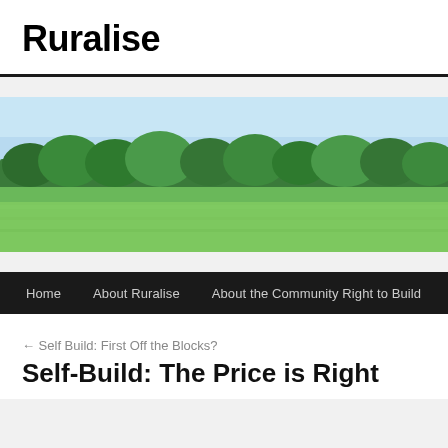Ruralise
[Figure (photo): Rural landscape photograph showing a green field in the foreground and a line of lush green trees in the middle ground under a clear blue sky.]
Home   About Ruralise   About the Community Right to Build   Abo...
← Self Build: First Off the Blocks?
Self-Build: The Price is Right